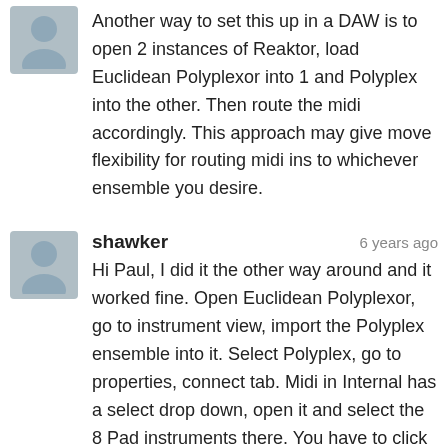[Figure (illustration): User avatar placeholder — grey silhouette of a person on a light blue-grey background]
Another way to set this up in a DAW is to open 2 instances of Reaktor, load Euclidean Polyplexor into 1 and Polyplex into the other. Then route the midi accordingly. This approach may give move flexibility for routing midi ins to whichever ensemble you desire.
[Figure (illustration): User avatar placeholder — grey silhouette of a person on a light blue-grey background]
shawker
6 years ago
Hi Paul, I did it the other way around and it worked fine. Open Euclidean Polyplexor, go to instrument view, import the Polyplex ensemble into it. Select Polyplex, go to properties, connect tab. Midi in Internal has a select drop down, open it and select the 8 Pad instruments there. You have to click the drop down 8 times to select all 8. **Save as** and give it a new name. It will